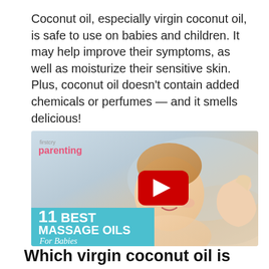Coconut oil, especially virgin coconut oil, is safe to use on babies and children. It may help improve their symptoms, as well as moisturize their sensitive skin. Plus, coconut oil doesn't contain added chemicals or perfumes — and it smells delicious!
[Figure (screenshot): Video thumbnail from Firstcry Parenting showing a baby being massaged, with a YouTube play button overlay and text overlay reading '11 BEST MASSAGE OILS For Babies' on a teal banner]
Which virgin coconut oil is